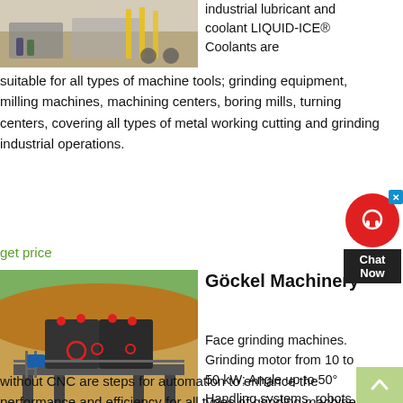[Figure (photo): Industrial machinery on a dirt field with yellow equipment in background]
industrial lubricant and coolant LIQUID-ICE® Coolants are suitable for all types of machine tools; grinding equipment, milling machines, machining centers, boring mills, turning centers, covering all types of metal working cutting and grinding industrial operations.
get price
[Figure (photo): Heavy industrial crushing machine on a platform outdoors with dirt mound in background]
Göckel Machinery
Face grinding machines. Grinding motor from 10 to 50 kW; Angle up to 50° Handling systems, robots with and without CNC are steps for automation to enhance the performance and efficiency for all types of grinding machines and for all interfaces to chain with other work units. News . Next trade fair visit: GrindTec 2022 15 18 March Augsburg, Germany